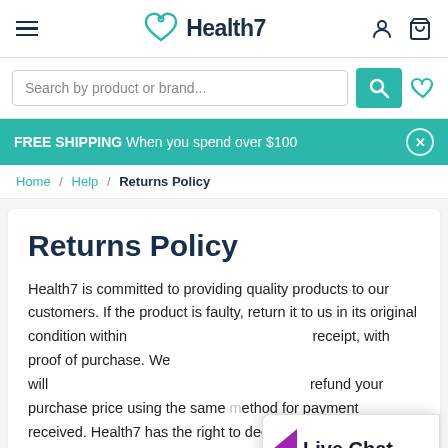Health7
Search by product or brand...
FREE SHIPPING When you spend over $100
Home / Help / Returns Policy
Returns Policy
Health7 is committed to providing quality products to our customers. If the product is faulty, return it to us in its original condition within [days of] receipt, with proof of purchase. We will [then] refund your purchase price using the same [meth]od for payment received. Health7 has the right to decline returns if the product is not returned in its original
Live Chat
we are online!